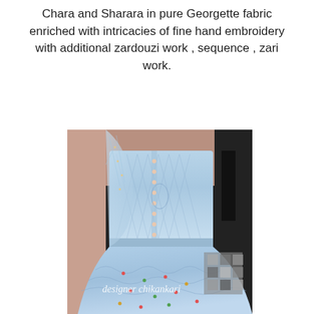Chara and Sharara in pure Georgette fabric enriched with intricacies of fine hand embroidery with additional zardouzi work , sequence , zari work.
[Figure (photo): A light blue Georgette Chara and Sharara outfit with fine hand embroidery, zardouzi work, sequence, and zari work. The garment features a heavily embroidered top and a flowing skirt. A watermark reading 'designer chikankari' is visible on the image. Part of the image is pixelated/blurred in the bottom right corner.]